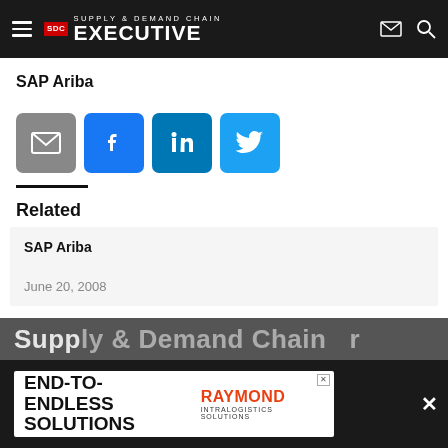Supply & Demand Chain Executive
SAP Ariba
[Figure (other): Social share buttons: email (grey), Facebook (blue), LinkedIn (blue), Twitter (light blue)]
Related
SAP Ariba
June 20, 2008
[Figure (other): Advertisement banner: END-TO-ENDLESS SOLUTIONS - Raymond Intralogistics Solutions]